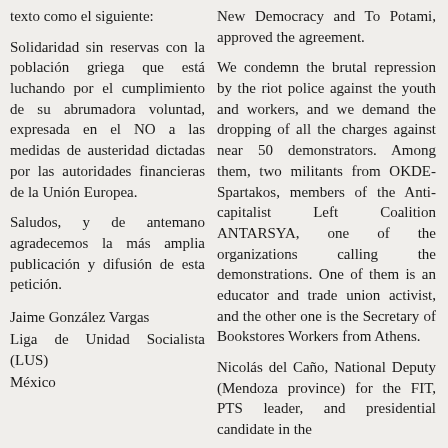texto como el siguiente:
Solidaridad sin reservas con la población griega que está luchando por el cumplimiento de su abrumadora voluntad, expresada en el NO a las medidas de austeridad dictadas por las autoridades financieras de la Unión Europea.
Saludos, y de antemano agradecemos la más amplia publicación y difusión de esta petición.
Jaime González Vargas
Liga de Unidad Socialista (LUS)
México
New Democracy and To Potami, approved the agreement.
We condemn the brutal repression by the riot police against the youth and workers, and we demand the dropping of all the charges against near 50 demonstrators. Among them, two militants from OKDE-Spartakos, members of the Anti-capitalist Left Coalition ANTARSYA, one of the organizations calling the demonstrations. One of them is an educator and trade union activist, and the other one is the Secretary of Bookstores Workers from Athens.
Nicolás del Caño, National Deputy (Mendoza province) for the FIT, PTS leader, and presidential candidate in the